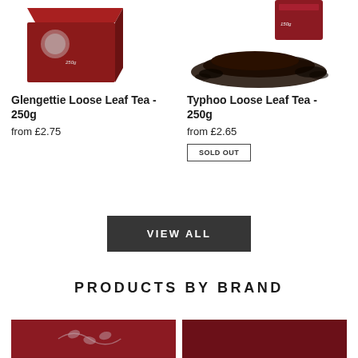[Figure (photo): Product photo of Glengettie Loose Leaf Tea 250g box, red packaging, partially cropped at top]
[Figure (photo): Product photo of Typhoo Loose Leaf Tea 250g, showing pile of loose tea leaves and product packaging at top, partially cropped]
Glengettie Loose Leaf Tea - 250g
from £2.75
Typhoo Loose Leaf Tea - 250g
from £2.65
SOLD OUT
VIEW ALL
PRODUCTS BY BRAND
[Figure (photo): Brand product image, left side, dark red background with decorative leaf motif]
[Figure (photo): Brand product image, right side, dark red/maroon background]